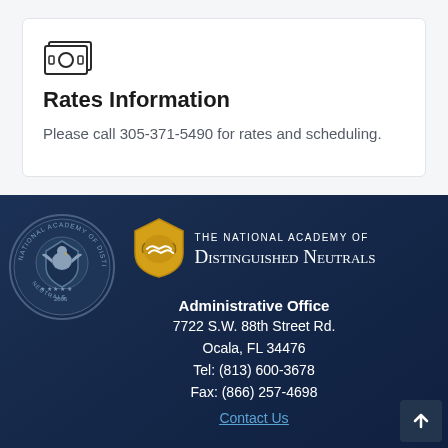[Figure (illustration): Money/cash icon — stylized bills with circle, outlined in dark gray]
Rates Information
Please call 305-371-5490 for rates and scheduling.
[Figure (logo): Yellow shield logo with handshake emblem for The National Academy of Distinguished Neutrals, next to circular seal on the left]
THE NATIONAL ACADEMY OF DISTINGUISHED NEUTRALS
Administrative Office
7722 S.W. 88th Street Rd.
Ocala, FL 34476
Tel: (813) 600-3678
Fax: (866) 257-4698
Contact Us